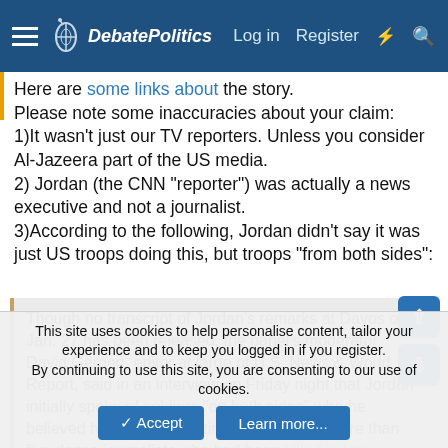DebatePolitics | Log in | Register
Here are some links about the story.
Please note some inaccuracies about your claim:
1)It wasn't just our TV reporters. Unless you consider Al-Jazeera part of the US media.
2) Jordan (the CNN "reporter") was actually a news executive and not a journalist.
3)According to the following, Jordan didn't say it was just US troops doing this, but troops "from both sides":
Though no transcript of Jordan's remarks at Davos on Jan. 27 has been released, the panel's moderator, David Gergen, editor at large of U.S. News & World Report, said in an interview on Friday night that Jordan initially spoke of soldiers "on both sides" who he believed had been "targeting" some of the more than five dozen journalists who had been killed in Iraq.
This site uses cookies to help personalise content, tailor your experience and to keep you logged in if you register.
By continuing to use this site, you are consenting to our use of cookies.